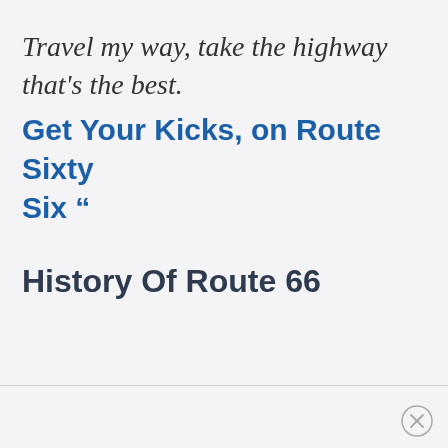Travel my way, take the highway that's the best.
Get Your Kicks, on Route Sixty Six “
History Of Route 66